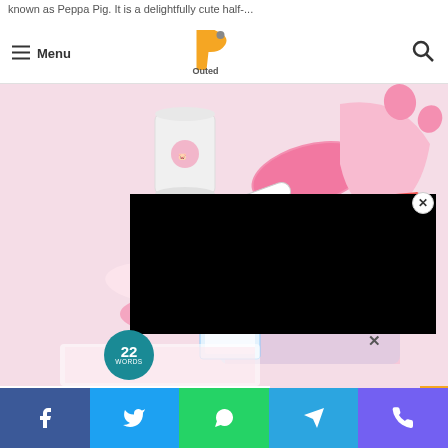known as Peppa Pig. It is a delightfully cute half-...
Menu | Outed logo | Search
[Figure (photo): A collection of Peppa Pig themed merchandise including a cup, towels, socks, hair clips, and a pink hooded towel, all in pink tones.]
[Figure (screenshot): A black video player overlay popup appearing over the Peppa Pig merchandise image.]
[Figure (logo): 22 Words circular badge logo in teal/dark cyan color.]
37 ITEMS PEOPLE LOVE TO PURCHASE ON AMAZON
CLOSE
Social share bar: Facebook, Twitter, WhatsApp, Telegram, Viber